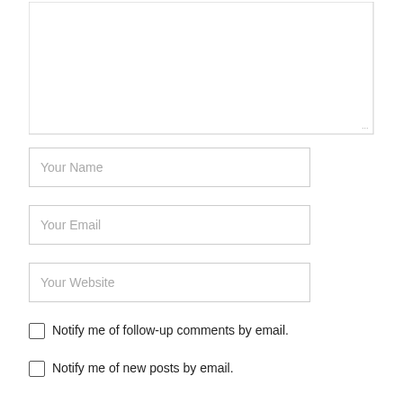[Figure (screenshot): Large empty textarea input field with a resize handle in the bottom-right corner]
Your Name
Your Email
Your Website
Notify me of follow-up comments by email.
Notify me of new posts by email.